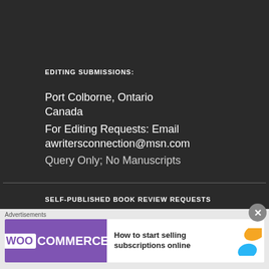EDITING SUBMISSIONS:
Port Colborne, Ontario
Canada
For Editing Requests: Email
awritersconnection@msn.com
Query Only; No Manuscripts
SELF-PUBLISHED BOOK REVIEW REQUESTS
awritersconnection@msn.com
Query First; Printed Will be Requested
[Figure (other): WooCommerce advertisement banner: 'How to start selling subscriptions online']